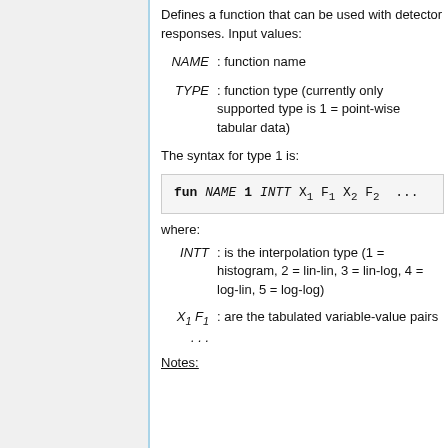Defines a function that can be used with detector responses. Input values:
NAME : function name
TYPE : function type (currently only supported type is 1 = point-wise tabular data)
The syntax for type 1 is:
where:
INTT : is the interpolation type (1 = histogram, 2 = lin-lin, 3 = lin-log, 4 = log-lin, 5 = log-log)
X1 F1 ... : are the tabulated variable-value pairs
Notes: